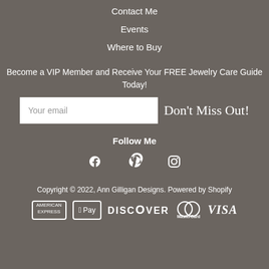Contact Me
Events
Where to Buy
Become a VIP Member and Receive Your FREE Jewelry Care Guide Today!
Your email
Don't Miss Out!
Follow Me
[Figure (illustration): Social media icons: Facebook, Pinterest, Instagram]
Copyright © 2022, Ann Gilligan Designs. Powered by Shopify
[Figure (illustration): Payment icons: American Express, Apple Pay, Discover, MasterCard, Visa]